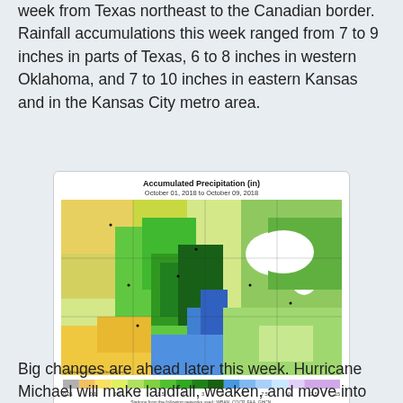week from Texas northeast to the Canadian border. Rainfall accumulations this week ranged from 7 to 9 inches in parts of Texas, 6 to 8 inches in western Oklahoma, and 7 to 10 inches in eastern Kansas and in the Kansas City metro area.
[Figure (map): Accumulated Precipitation (in) map of the central/eastern US for October 01, 2018 to October 09, 2018, showing precipitation totals with a color scale from gray (0.01 in) to purple (15 in). Heavy precipitation shown in dark green and blue across the central plains and Great Lakes region.]
Big changes are ahead later this week. Hurricane Michael will make landfall, weaken, and move into the Atlantic